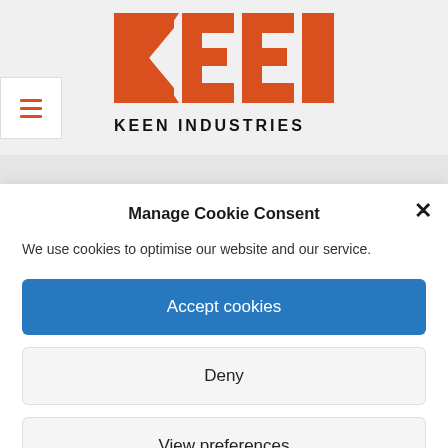[Figure (logo): KEEN Industries logo — red/orange block letters spelling KEEN with two horizontal bars inside, and KEEN INDUSTRIES text below in black]
[Figure (other): Hamburger menu icon with three orange horizontal lines on white background]
Manage Cookie Consent
We use cookies to optimise our website and our service.
Accept cookies
Deny
View preferences